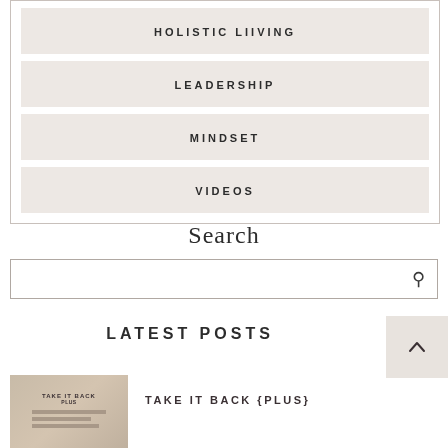HOLISTIC LIIVING
LEADERSHIP
MINDSET
VIDEOS
Search
[Figure (other): Search input box with magnifying glass icon]
LATEST POSTS
[Figure (other): Back to top button with upward chevron arrow]
[Figure (photo): Thumbnail image for Take It Back Plus post, showing cards or documents on a pink background]
TAKE IT BACK {PLUS}